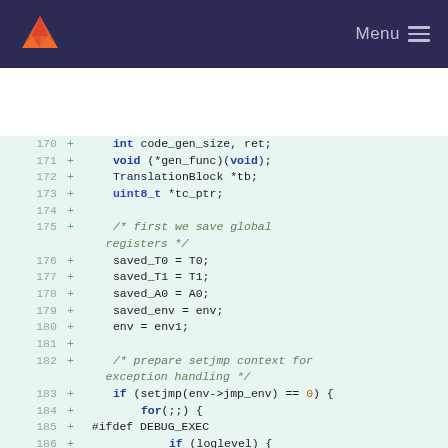Menu
[Figure (screenshot): Code diff view showing lines 170-187 of a C source file with added lines (marked with +) including variable declarations, comments, and code for saving global registers and preparing setjmp context for exception handling.]